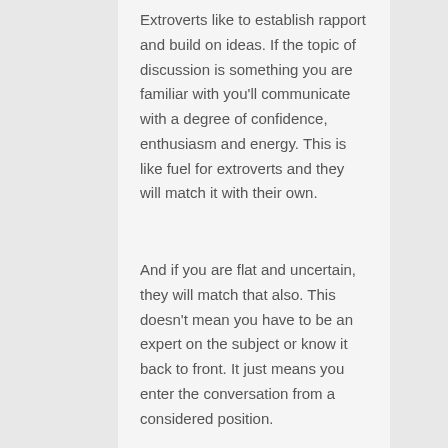Extroverts like to establish rapport and build on ideas. If the topic of discussion is something you are familiar with you'll communicate with a degree of confidence, enthusiasm and energy. This is like fuel for extroverts and they will match it with their own.
And if you are flat and uncertain, they will match that also. This doesn't mean you have to be an expert on the subject or know it back to front. It just means you enter the conversation from a considered position.